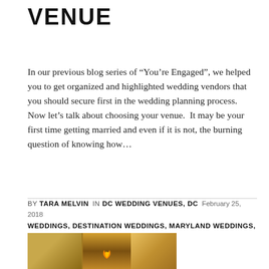VENUE
In our previous blog series of “You’re Engaged”, we helped you to get organized and highlighted wedding vendors that you should secure first in the wedding planning process.  Now let’s talk about choosing your venue.  It may be your first time getting married and even if it is not, the burning question of knowing how…
BY TARA MELVIN  IN DC WEDDING VENUES, DC WEDDINGS, DESTINATION WEDDINGS, MARYLAND WEDDINGS, VIRGINIA WEDDINGS  February 25, 2018
[Figure (photo): Partial photo of a wedding venue with golden/yellow drapery and candles visible at the bottom of the page]